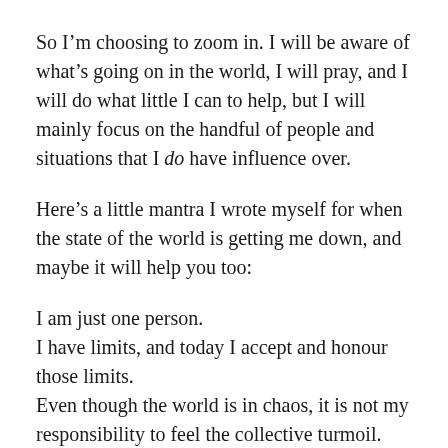So I'm choosing to zoom in. I will be aware of what's going on in the world, I will pray, and I will do what little I can to help, but I will mainly focus on the handful of people and situations that I do have influence over.
Here's a little mantra I wrote myself for when the state of the world is getting me down, and maybe it will help you too:
I am just one person.
I have limits, and today I accept and honour those limits.
Even though the world is in chaos, it is not my responsibility to feel the collective turmoil.
And when I do, I will pray these feelings into my hands, and blow them into the wind, where they